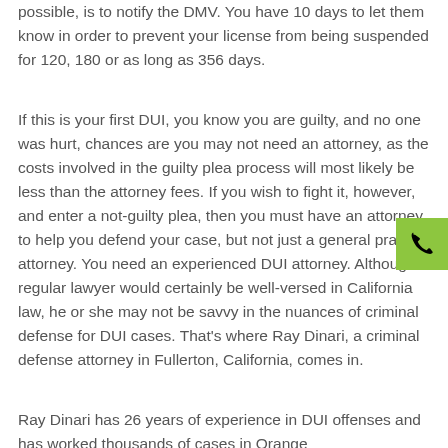possible, is to notify the DMV. You have 10 days to let them know in order to prevent your license from being suspended for 120, 180 or as long as 356 days.
If this is your first DUI, you know you are guilty, and no one was hurt, chances are you may not need an attorney, as the costs involved in the guilty plea process will most likely be less than the attorney fees. If you wish to fight it, however, and enter a not-guilty plea, then you must have an attorney to help you defend your case, but not just a general practice attorney. You need an experienced DUI attorney. Although a regular lawyer would certainly be well-versed in California law, he or she may not be savvy in the nuances of criminal defense for DUI cases. That's where Ray Dinari, a criminal defense attorney in Fullerton, California, comes in.
Ray Dinari has 26 years of experience in DUI offenses and has worked thousands of cases in Orange